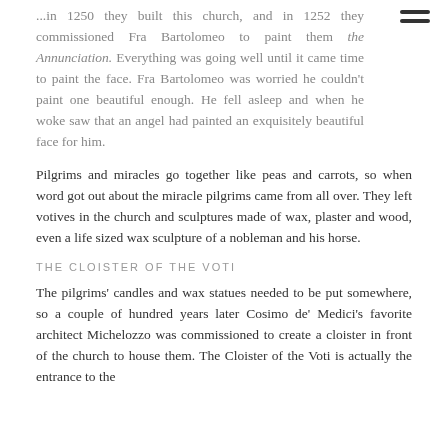...in 1250 they built this church, and in 1252 they commissioned Fra Bartolomeo to paint them the Annunciation. Everything was going well until it came time to paint the face. Fra Bartolomeo was worried he couldn't paint one beautiful enough. He fell asleep and when he woke saw that an angel had painted an exquisitely beautiful face for him.
Pilgrims and miracles go together like peas and carrots, so when word got out about the miracle pilgrims came from all over. They left votives in the church and sculptures made of wax, plaster and wood, even a life sized wax sculpture of a nobleman and his horse.
THE CLOISTER OF THE VOTI
The pilgrims' candles and wax statues needed to be put somewhere, so a couple of hundred years later Cosimo de' Medici's favorite architect Michelozzo was commissioned to create a cloister in front of the church to house them. The Cloister of the Voti is actually the entrance to the